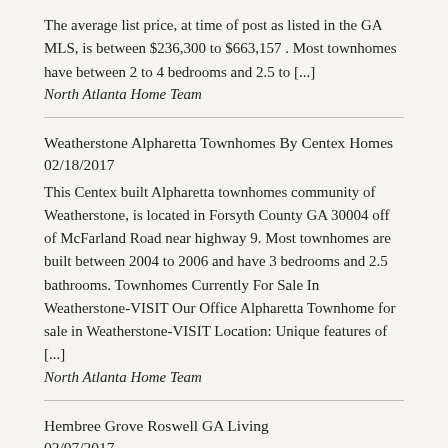The average list price, at time of post as listed in the GA MLS, is between $236,300 to $663,157 . Most townhomes have between 2 to 4 bedrooms and 2.5 to [...]
North Atlanta Home Team
Weatherstone Alpharetta Townhomes By Centex Homes 02/18/2017
This Centex built Alpharetta townhomes community of Weatherstone, is located in Forsyth County GA 30004 off of McFarland Road near highway 9. Most townhomes are built between 2004 to 2006 and have 3 bedrooms and 2.5 bathrooms. Townhomes Currently For Sale In Weatherstone-VISIT Our Office Alpharetta Townhome for sale in Weatherstone-VISIT Location: Unique features of [...]
North Atlanta Home Team
Hembree Grove Roswell GA Living 02/07/2017